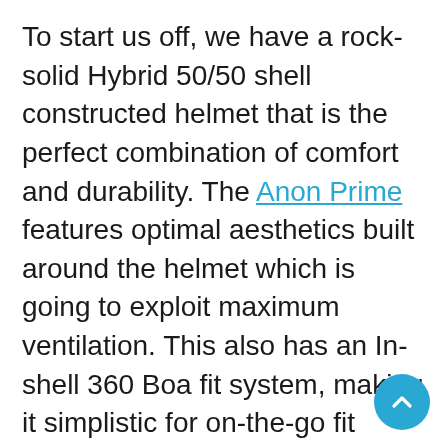To start us off, we have a rock-solid Hybrid 50/50 shell constructed helmet that is the perfect combination of comfort and durability. The Anon Prime features optimal aesthetics built around the helmet which is going to exploit maximum ventilation. This also has an In-shell 360 Boa fit system, making it simplistic for on-the-go fit adjustments at the turn of a dial. The helmets active ventilation also offers great control over 23 vents in total, enabling the rider to basically choose the temperature based on their preferences. In addition, the helmet offers some of our favorite comfort it comes with Expedition Fleece on its inner